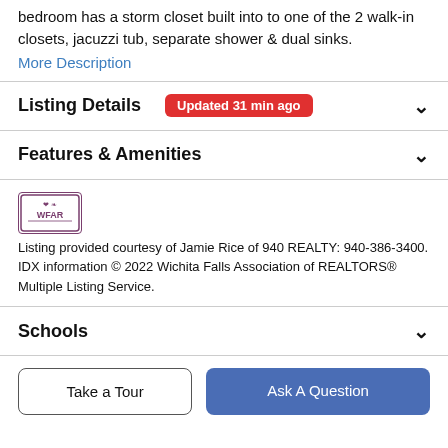bedroom has a storm closet built into to one of the 2 walk-in closets, jacuzzi tub, separate shower & dual sinks.
More Description
Listing Details Updated 31 min ago
Features & Amenities
[Figure (logo): WFAR logo - Wichita Falls Association of REALTORS]
Listing provided courtesy of Jamie Rice of 940 REALTY: 940-386-3400. IDX information © 2022 Wichita Falls Association of REALTORS® Multiple Listing Service.
Schools
Take a Tour
Ask A Question